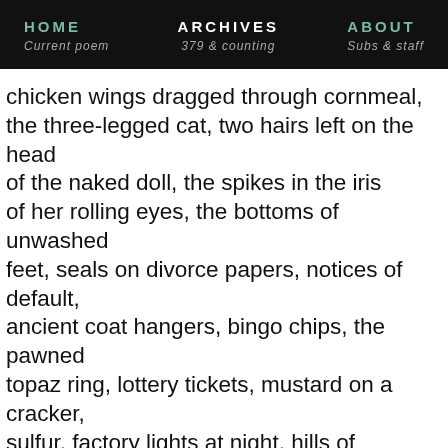HOME Current poem | ARCHIVES 379 & counting | ABOUT Subs & staff
chicken wings dragged through cornmeal, the three-legged cat, two hairs left on the head of the naked doll, the spikes in the iris of her rolling eyes, the bottoms of unwashed feet, seals on divorce papers, notices of default, ancient coat hangers, bingo chips, the pawned topaz ring, lottery tickets, mustard on a cracker, sulfur, factory lights at night, hills of sawdust and shallow pans of brake fluid, bees seething in a dead tree knot, tinder in a box, pennies in a jar, coffee stained teeth, a busted piano's ivory keys, bed bugs, fleas, algae scum simmering on a pond, the carp floating beneath. Color